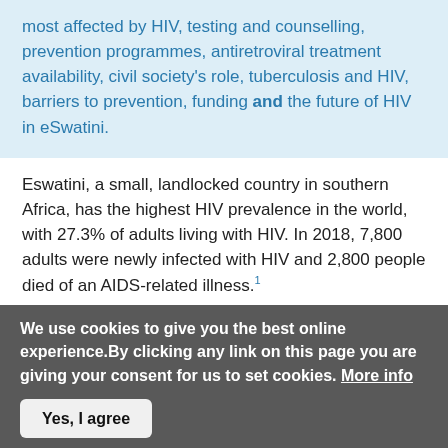most affected by HIV, testing and counselling, prevention programmes, antiretroviral treatment availability, civil society's role, tuberculosis and HIV, barriers to prevention, funding and the future of HIV in eSwatini.
Eswatini, a small, landlocked country in southern Africa, has the highest HIV prevalence in the world, with 27.3% of adults living with HIV. In 2018, 7,800 adults were newly infected with HIV and 2,800 people died of an AIDS-related illness.1
HIV and AIDS have had a devastating impact on Eswatini. Heterosexual sex is the main mode of transmission,
We use cookies to give you the best online experience.By clicking any link on this page you are giving your consent for us to set cookies. More info